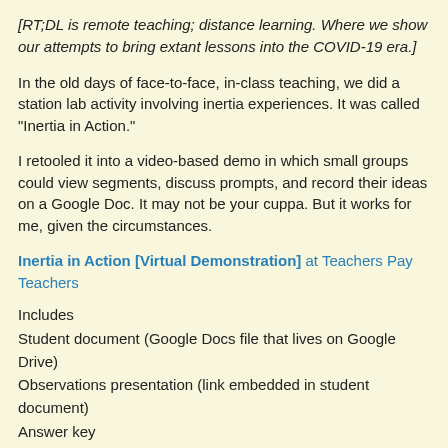[RT;DL is remote teaching; distance learning. Where we show our attempts to bring extant lessons into the COVID-19 era.]
In the old days of face-to-face, in-class teaching, we did a station lab activity involving inertia experiences. It was called "Inertia in Action."
I retooled it into a video-based demo in which small groups could view segments, discuss prompts, and record their ideas on a Google Doc. It may not be your cuppa. But it works for me, given the circumstances.
Inertia in Action [Virtual Demonstration] at Teachers Pay Teachers
Includes
Student document (Google Docs file that lives on Google Drive)
Observations presentation (link embedded in student document)
Answer key